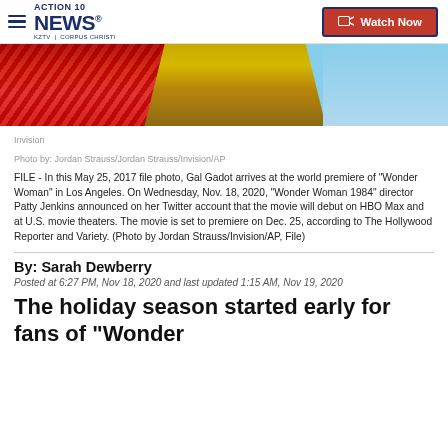ACTION 10 NEWS® KZTV | CORPUS CHRISTI — Watch Now
[Figure (photo): Partial photo of Gal Gadot at the Wonder Woman world premiere, showing a red sequined dress and gold Wonder Woman tiara/accessories]
Invision
Photo by: Jordan Strauss/Jordan Strauss/Invision/AP
FILE - In this May 25, 2017 file photo, Gal Gadot arrives at the world premiere of "Wonder Woman" in Los Angeles. On Wednesday, Nov. 18, 2020, "Wonder Woman 1984" director Patty Jenkins announced on her Twitter account that the movie will debut on HBO Max and at U.S. movie theaters. The movie is set to premiere on Dec. 25, according to The Hollywood Reporter and Variety. (Photo by Jordan Strauss/Invision/AP, File)
By: Sarah Dewberry
Posted at 6:27 PM, Nov 18, 2020 and last updated 1:15 AM, Nov 19, 2020
The holiday season started early for fans of "Wonder